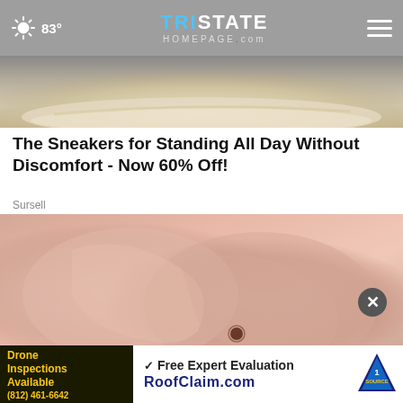83° Tristate Homepage.com
[Figure (photo): Close-up photo of the top of a sneaker/shoe showing white sole with decorative stitching and tan/brown upper]
The Sneakers for Standing All Day Without Discomfort - Now 60% Off!
Sursell
[Figure (photo): Close-up medical photo of fingers touching/examining a mole on skin, on a light purple/lavender background]
[Figure (other): Bottom advertisement banner: left side dark background with yellow text 'Drone Inspections Available (812) 461-6642', right side white background with '✓ Free Expert Evaluation' and 'RoofClaim.com' with 1 Source logo badge]